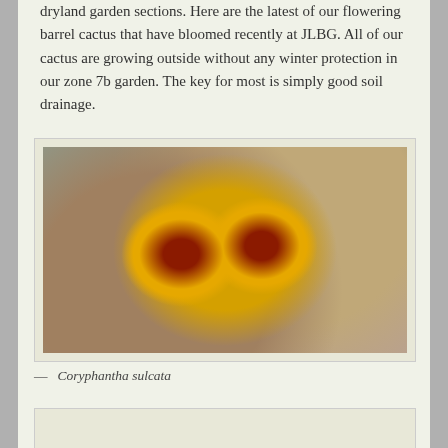dryland garden sections. Here are the latest of our flowering barrel cactus that have bloomed recently at JLBG. All of our cactus are growing outside without any winter protection in our zone 7b garden. The key for most is simply good soil drainage.
[Figure (photo): Photograph of a Coryphantha sulcata cactus with multiple bright yellow flowers with dark red centers, growing among rocks and gravel]
— Coryphantha sulcata
[Figure (photo): Partial photograph of another cactus specimen, cropped at bottom of page, showing rocks and gravel background]